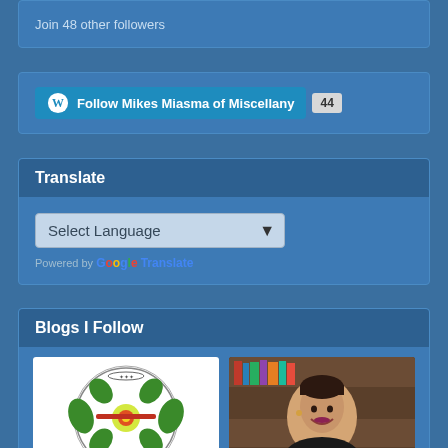Join 48 other followers
Follow Mikes Miasma of Miscellany 44
Translate
Select Language
Powered by Google Translate
Blogs I Follow
[Figure (illustration): Circular green and yellow ornamental emblem with decorative motifs on white background]
[Figure (photo): Young person with short hair smiling in front of a bookshelf]